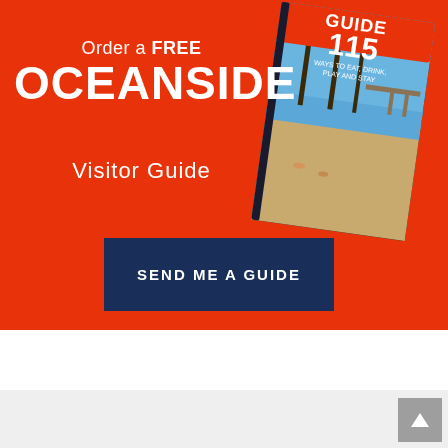[Figure (illustration): Oceanside Visitor Guide book cover showing beach scene with palm trees, '115 WAYS TO EAT, DRINK, PLAY AND STAY' text]
Order a FREE
OCEANSIDE
Visitor Guide
SEND ME A GUIDE